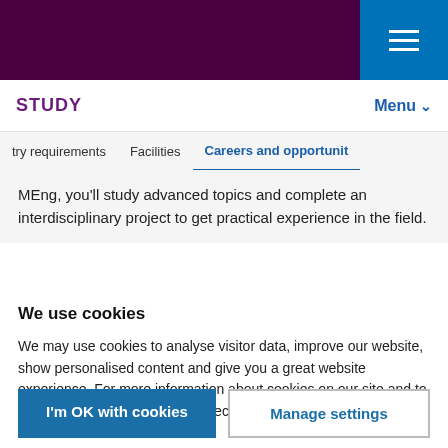STUDY   Menu
try requirements   Facilities   Careers and opportunit
MEng, you'll study advanced topics and complete an interdisciplinary project to get practical experience in the field.
We use cookies
We may use cookies to analyse visitor data, improve our website, show personalised content and give you a great website experience. For more information about cookies on our site and to tailor the cookies we collect, select 'Manage settings'.
I'm OK with cookies
Manage settings